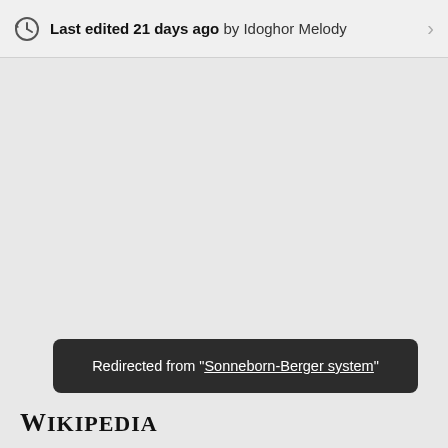Last edited 21 days ago by Idoghor Melody
Redirected from "Sonneborn-Berger system"
[Figure (logo): Wikipedia logo with text 'Wikipedia']